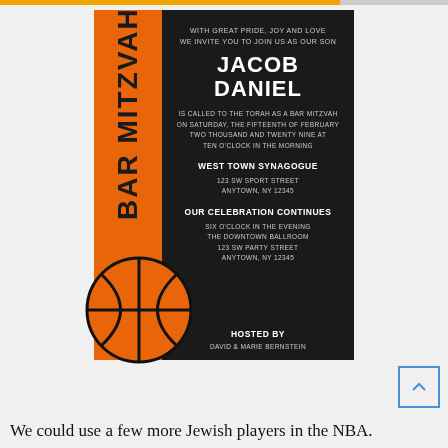[Figure (illustration): Bar Mitzvah invitation with basketball theme. Orange left column with vertical text 'BAR MITZVAH' and orange/black basketball graphic in bottom corner. Black right section with invitation text for Jacob Daniel.]
We could use a few more Jewish players in the NBA.